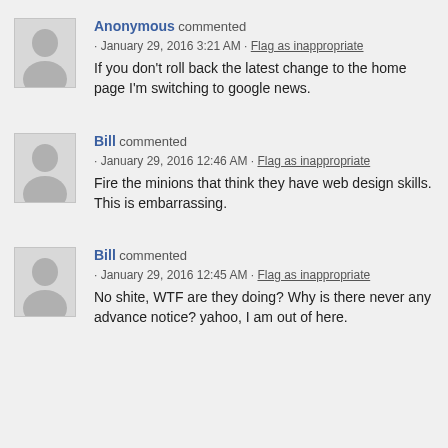Anonymous commented · January 29, 2016 3:21 AM · Flag as inappropriate
If you don't roll back the latest change to the home page I'm switching to google news.
Bill commented · January 29, 2016 12:46 AM · Flag as inappropriate
Fire the minions that think they have web design skills. This is embarrassing.
Bill commented · January 29, 2016 12:45 AM · Flag as inappropriate
No shite, WTF are they doing? Why is there never any advance notice? yahoo, I am out of here.